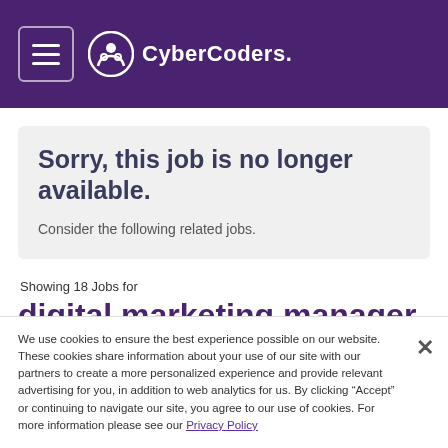CyberCoders
Sorry, this job is no longer available.
Consider the following related jobs.
Showing 18 Jobs for
digital marketing manager
We use cookies to ensure the best experience possible on our website. These cookies share information about your use of our site with our partners to create a more personalized experience and provide relevant advertising for you, in addition to web analytics for us. By clicking “Accept” or continuing to navigate our site, you agree to our use of cookies. For more information please see our Privacy Policy